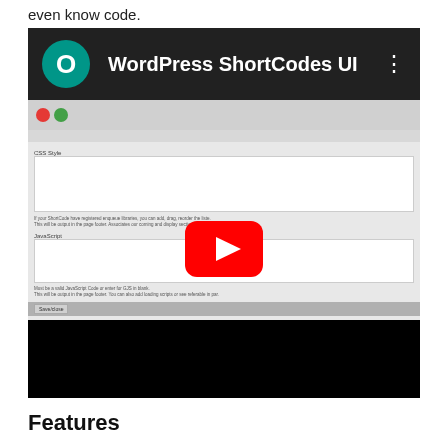even know code.
[Figure (screenshot): YouTube video thumbnail showing WordPress ShortCodes UI plugin interface with a YouTube play button overlay. The video header shows a teal circle avatar with 'O', the title 'WordPress ShortCodes UI', and a three-dot menu. The content area shows a UI screenshot with CSS Style and JavaScript input fields. Below is a black area.]
Features